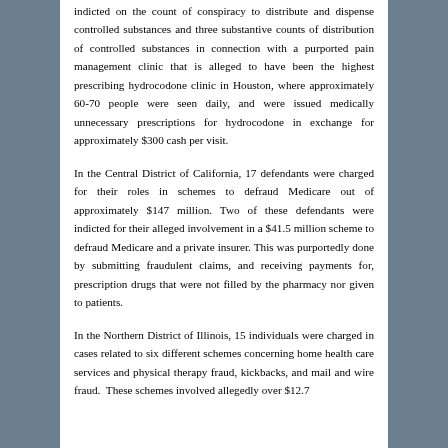indicted on the count of conspiracy to distribute and dispense controlled substances and three substantive counts of distribution of controlled substances in connection with a purported pain management clinic that is alleged to have been the highest prescribing hydrocodone clinic in Houston, where approximately 60-70 people were seen daily, and were issued medically unnecessary prescriptions for hydrocodone in exchange for approximately $300 cash per visit.
In the Central District of California, 17 defendants were charged for their roles in schemes to defraud Medicare out of approximately $147 million. Two of these defendants were indicted for their alleged involvement in a $41.5 million scheme to defraud Medicare and a private insurer. This was purportedly done by submitting fraudulent claims, and receiving payments for, prescription drugs that were not filled by the pharmacy nor given to patients.
In the Northern District of Illinois, 15 individuals were charged in cases related to six different schemes concerning home health care services and physical therapy fraud, kickbacks, and mail and wire fraud. These schemes involved allegedly over $12.7